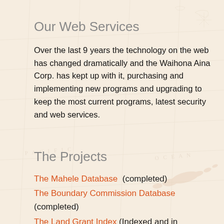[Figure (map): Faded vintage map of the Pacific Ocean and Hawaiian Islands used as background]
Our Web Services
Over the last 9 years the technology on the web has changed dramatically and the Waihona Aina Corp. has kept up with it, purchasing and implementing new programs and upgrading to keep the most current programs, latest security and web services.
The Projects
The Mahele Database  (completed)
The Boundary Commission Database (completed)
The Land Grant Index (Indexed and in process)